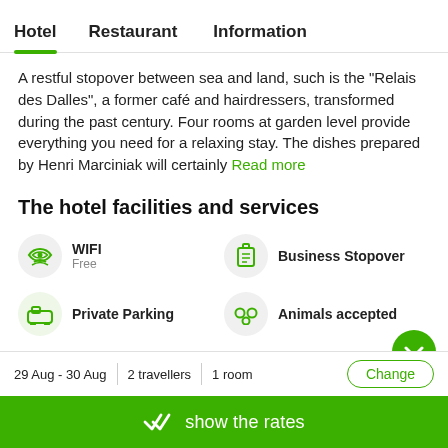Hotel | Restaurant | Information
A restful stopover between sea and land, such is the "Relais des Dalles", a former café and hairdressers, transformed during the past century. Four rooms at garden level provide everything you need for a relaxing stay. The dishes prepared by Henri Marciniak will certainly Read more
The hotel facilities and services
WIFI — Free
Business Stopover
Private Parking
Animals accepted
29 Aug - 30 Aug | 2 travellers | 1 room | Change
show the rates